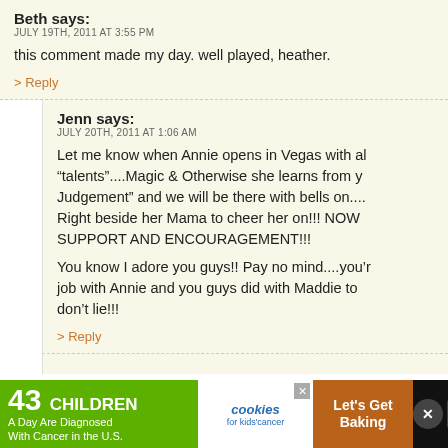Beth says:
JULY 19TH, 2011 AT 3:55 PM
this comment made my day. well played, heather.
> Reply
Jenn says:
JULY 20TH, 2011 AT 1:06 AM
Let me know when Annie opens in Vegas with all her “talents”....Magic & Otherwise she learns from y… Judgement” and we will be there with bells on.... Right beside her Mama to cheer her on!!! NOW SUPPORT AND ENCOURAGEMENT!!!
You know I adore you guys!! Pay no mind....you’re job with Annie and you guys did with Maddie to… don’t lie!!!
> Reply
[Figure (infographic): Advertisement banner: '43 CHILDREN A Day Are Diagnosed With Cancer in the U.S.' with cookies for kids' cancer logo and 'Let's Get Baking' section on brown background]